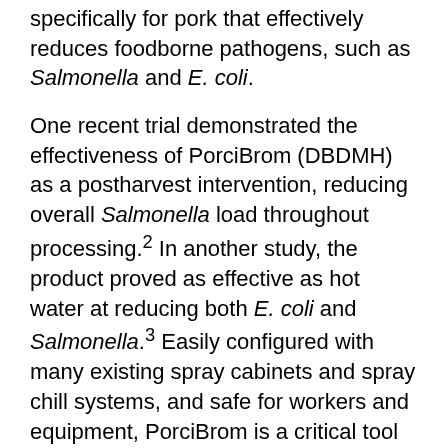specifically for pork that effectively reduces foodborne pathogens, such as Salmonella and E. coli.
One recent trial demonstrated the effectiveness of PorciBrom (DBDMH) as a postharvest intervention, reducing overall Salmonella load throughout processing.2 In another study, the product proved as effective as hot water at reducing both E. coli and Salmonella.3 Easily configured with many existing spray cabinets and spray chill systems, and safe for workers and equipment, PorciBrom is a critical tool to help processors protect pork from foodborne pathogens.
In a rapidly changing industry environment,